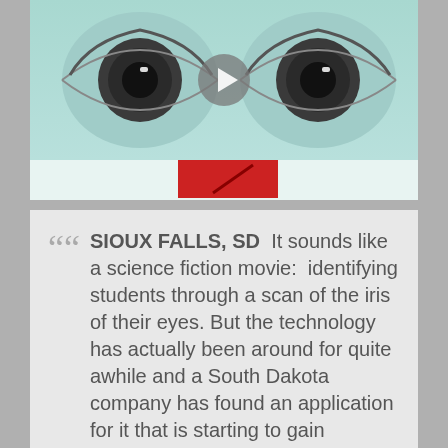[Figure (photo): Close-up of two eyes in teal/monochrome tone with a play button overlay and a red card element at the bottom, appearing to be a video thumbnail for an iris scanning technology news story.]
““ SIOUX FALLS, SD  It sounds like a science fiction movie:  identifying students through a scan of the iris of their eyes. But the technology has actually been around for quite awhile and a South Dakota company has found an application for it that is starting to gain international